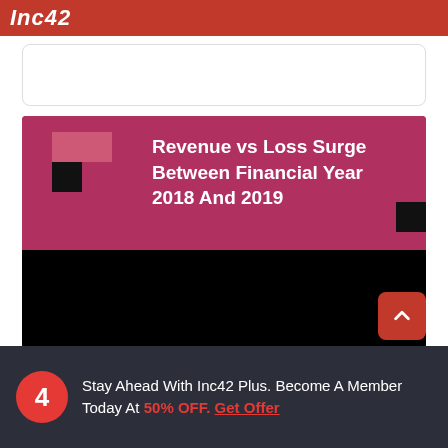Inc42
Revenue vs Loss Surge Between Financial Year 2018 And 2019
[Figure (other): Black image/chart area representing a financial chart comparing revenue vs loss for FY2018 and FY2019]
Stay Ahead With Inc42 Plus. Become A Member Today At 50% OFF. Get Offer